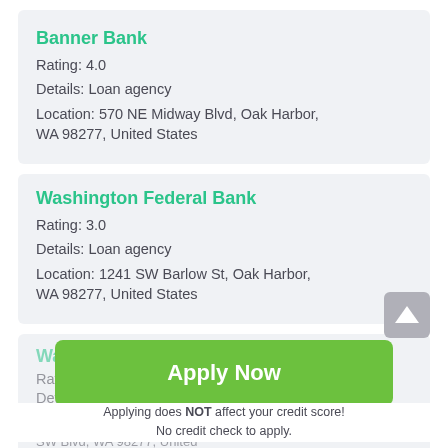Banner Bank
Rating: 4.0
Details: Loan agency
Location: 570 NE Midway Blvd, Oak Harbor, WA 98277, United States
Washington Federal Bank
Rating: 3.0
Details: Loan agency
Location: 1241 SW Barlow St, Oak Harbor, WA 98277, United States
Walmart Money Center
Rating: 0
Details: Loan agency
Apply Now
Applying does NOT affect your credit score! No credit check to apply.